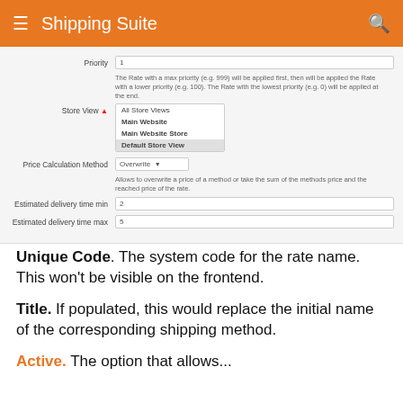Shipping Suite
[Figure (screenshot): Form screenshot showing fields: Priority (value: 1) with hint text, Store View dropdown with options All Store Views / Main Website / Main Website Store / Default Store View (highlighted), Price Calculation Method dropdown (Overwrite) with hint text, Estimated delivery time min (value: 2), Estimated delivery time max (value: 5)]
Unique Code. The system code for the rate name. This won't be visible on the frontend.
Title. If populated, this would replace the initial name of the corresponding shipping method.
Active. The option that allows...